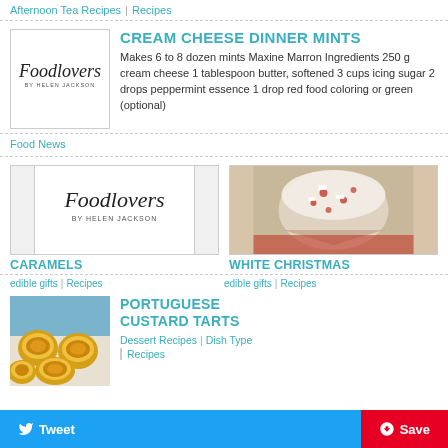Afternoon Tea Recipes | Recipes
CREAM CHEESE DINNER MINTS
Makes 6 to 8 dozen mints Maxine Marron Ingredients 250 g cream cheese 1 tablespoon butter, softened 3 cups icing sugar 2 drops peppermint essence 1 drop red food coloring or green (optional)
Food News
CARAMELS
WHITE CHRISTMAS
edible gifts | Recipes
edible gifts | Recipes
PORTUGUESE CUSTARD TARTS
Dessert Recipes | Dish Type
Recipes
Tweet  Save